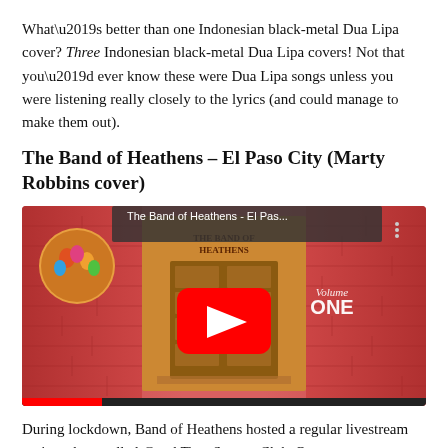What’s better than one Indonesian black-metal Dua Lipa cover? Three Indonesian black-metal Dua Lipa covers! Not that you’d ever know these were Dua Lipa songs unless you were listening really closely to the lyrics (and could manage to make them out).
The Band of Heathens – El Paso City (Marty Robbins cover)
[Figure (screenshot): YouTube video thumbnail for 'The Band of Heathens - El Pas...' showing a red/pink album cover with a door illustration and 'Volume ONE' text, with a red YouTube play button in the center and a circular band photo in the top left.]
During lockdown, Band of Heathens hosted a regular livestream variety show called Good Time Supper Club. One segment, “Remote